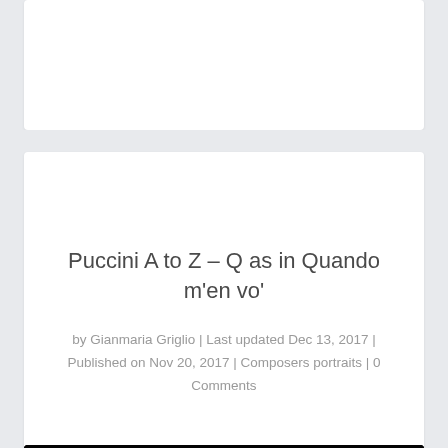[Figure (other): White content card area at top of page (empty/advertisement placeholder)]
Puccini A to Z – Q as in Quando m'en vo'
by Gianmaria Griglio | Last updated Dec 13, 2017 | Published on Nov 20, 2017 | Composers portraits | 0 Comments
[Figure (photo): Black and white portrait photograph of Puccini, showing top of head with dark background, partial face visible at bottom]